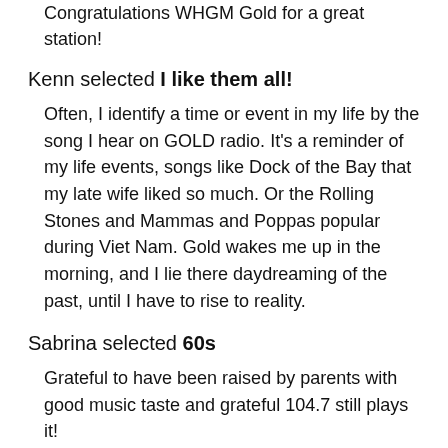Congratulations WHGM Gold for a great station!
Kenn selected I like them all!
Often, I identify a time or event in my life by the song I hear on GOLD radio. It's a reminder of my life events, songs like Dock of the Bay that my late wife liked so much. Or the Rolling Stones and Mammas and Poppas popular during Viet Nam. Gold wakes me up in the morning, and I lie there daydreaming of the past, until I have to rise to reality.
Sabrina selected 60s
Grateful to have been raised by parents with good music taste and grateful 104.7 still plays it!
Kathy Myers selected I like them all!
I love this station. I drive a taxi and my customers